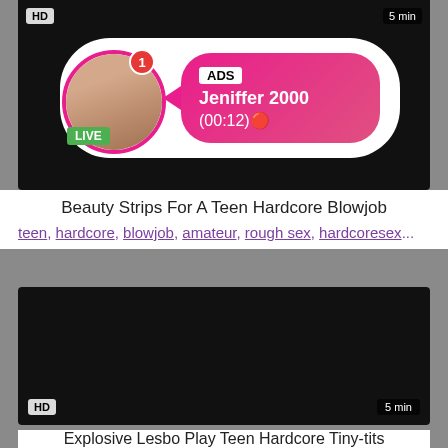[Figure (screenshot): Dark video thumbnail at top, with HD badge and 5 min duration label, and an overlay popup showing a live user named Jeniffer 2000 with ADS label and (00:12) timer]
Beauty Strips For A Teen Hardcore Blowjob
teen, hardcore, blowjob, amateur, rough sex, hardcoresex...
[Figure (screenshot): Dark video thumbnail with HD badge bottom-left and 5 min duration bottom-right]
Explosive Lesbo Play Teen Hardcore Tiny-tits
teen, hardcore, tiny tits, sex pussy, sucking cock, teenporno